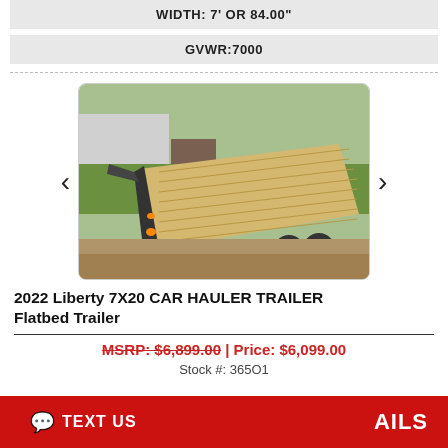WIDTH: 7' OR 84.00"
GVWR:7000
[Figure (photo): Photo of a 2022 Liberty 7X20 Car Hauler Flatbed Trailer with wooden deck floor, dark metal frame, shown outdoors on dirt/gravel surface with green grass and buildings in background]
2022 Liberty 7X20 CAR HAULER TRAILER Flatbed Trailer
MSRP: $6,899.00 | Price: $6,099.00
Stock #: 365O1
TEXT US  AILS